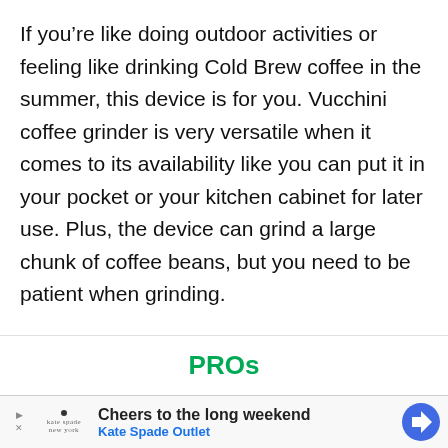If you’re like doing outdoor activities or feeling like drinking Cold Brew coffee in the summer, this device is for you. Vucchini coffee grinder is very versatile when it comes to its availability like you can put it in your pocket or your kitchen cabinet for later use. Plus, the device can grind a large chunk of coffee beans, but you need to be patient when grinding.
PROs
[Figure (other): Advertisement banner for Kate Spade Outlet: 'Cheers to the long weekend' with Kate Spade New York logo and blue navigation icon]